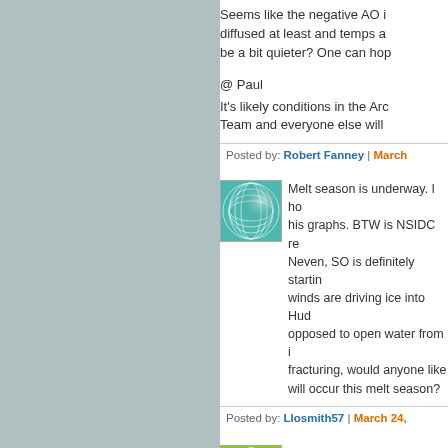Seems like the negative AO is diffused at least and temps are going to be a bit quieter? One can hop
@ Paul
It's likely conditions in the Arc Team and everyone else will
Posted by: Robert Fanney | March
[Figure (illustration): Teal/green circular wave pattern avatar icon with concentric arcs forming a sphere-like design]
Melt season is underway. I ho his graphs. BTW is NSIDC re Neven, SO is definitely startin winds are driving ice into Hud opposed to open water from fracturing, would anyone like will occur this melt season?
Posted by: Llosmith57 | March 24,
[Figure (illustration): Yellow-green circular wave pattern avatar icon with radiating lines forming a sphere-like design]
@ Neven, Llosmith, Espen